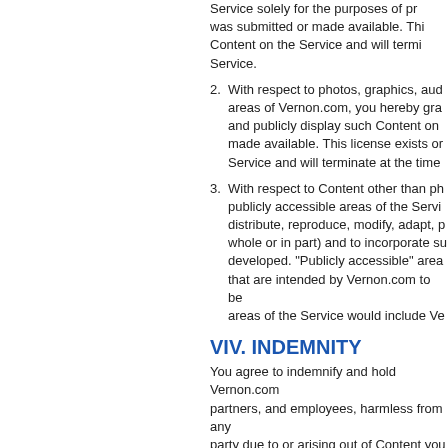Service solely for the purposes of providing the service for which the content was submitted or made available. This license exists only for as long as you elect to continue to include such Content on the Service and will terminate at the time you remove or Vernon.com removes such Content from the Service.
With respect to photos, graphics, audio or video you submit or make available for inclusion in publicly accessible areas of Vernon.com, you hereby grant Vernon.com the worldwide, royalty-free and non-exclusive license to use, distribute, reproduce, modify, adapt, publicly perform and publicly display such Content on the Service solely for the purpose for which such Content was submitted or made available. This license exists only for as long as you elect to continue to include such Content on the Service and will terminate at the time you remove or Vernon.com removes such Content from the Service.
With respect to Content other than photos, graphics, audio or video you submit or make available for inclusion in publicly accessible areas of the Service, you hereby grant Vernon.com the perpetual, irrevocable and fully sublicensable license to use, distribute, reproduce, modify, adapt, publish, translate, create derivative works from, and distribute, perform and display such Content (in whole or in part) and to incorporate such Content into other works in any format or medium now known or later developed. "Publicly accessible" areas of the Service are those areas of the Vernon.com network of online properties that are intended by Vernon.com to be available to the general public. By way of example, publicly accessible areas of the Service would include Vernon.com message boards and portions of Vernon.com.
VIV. INDEMNITY
You agree to indemnify and hold Vernon.com, and its subsidiaries, affiliates, officers, agents, co-branding or other partners, and employees, harmless from any claim or demand, including reasonable attorneys' fees, made by any third party due to or arising out of Content you submit, post, transmit or otherwise make available through the Service, your connection to the Service, your violation of the TOS, or your violation of any rights of another.
X. NO RESALE OF SERVICE
You agree not to reproduce, duplicate, copy, sell, resell or exploit for any commercial purposes, any portion of the Service, use of the Service, or access to the Service.
XI. GENERAL PRACTICES R
You acknowledge that Vernon.com may establish general practices and limits concerning use of the Service, including without limitation the maximum number of da